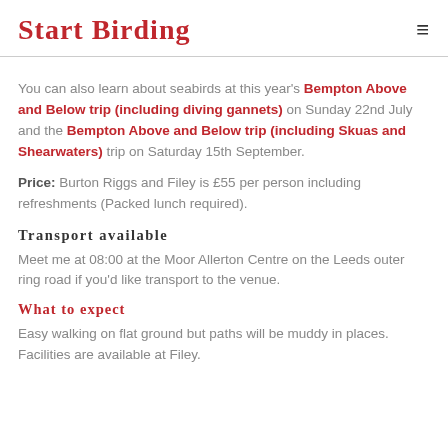Start Birding
You can also learn about seabirds at this year's Bempton Above and Below trip (including diving gannets) on Sunday 22nd July and the Bempton Above and Below trip (including Skuas and Shearwaters) trip on Saturday 15th September.
Price: Burton Riggs and Filey is £55 per person including refreshments (Packed lunch required).
Transport available
Meet me at 08:00 at the Moor Allerton Centre on the Leeds outer ring road if you'd like transport to the venue.
What to expect
Easy walking on flat ground but paths will be muddy in places. Facilities are available at Filey.